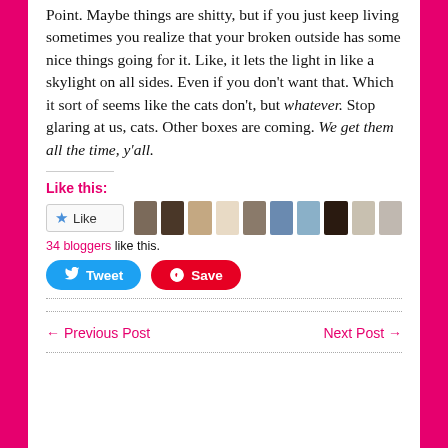Point.  Maybe things are shitty, but if you just keep living sometimes you realize that your broken outside has some nice things going for it.  Like, it lets the light in like a skylight on all sides.  Even if you don't want that.  Which it sort of seems like the cats don't, but whatever.  Stop glaring at us, cats.  Other boxes are coming.  We get them all the time, y'all.
Like this:
[Figure (screenshot): Like button with blue star icon, followed by a row of 10 blogger avatar thumbnails]
34 bloggers like this.
[Figure (screenshot): Tweet button (blue, rounded) and Save button (red, rounded with Pinterest icon)]
← Previous Post
Next Post →